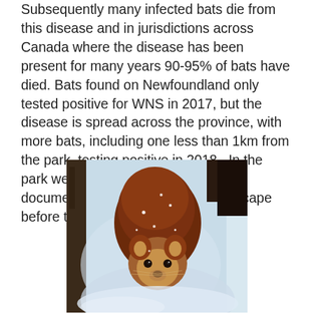Subsequently many infected bats die from this disease and in jurisdictions across Canada where the disease has been present for many years 90-95% of bats have died. Bats found on Newfoundland only tested positive for WNS in 2017, but the disease is spread across the province, with more bats, including one less than 1km from the park, testing positive in 2018.  In the park we have been working hard to document bat presence on the landscape before the anticipated decline.
[Figure (photo): A brown furry animal (pine marten or similar mustelid) facing the camera, sitting on snow, with a wooden post visible on the left side of the image.]